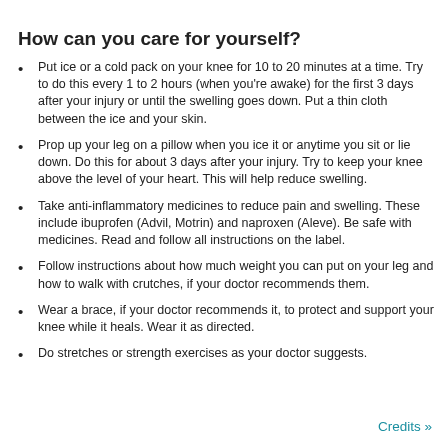How can you care for yourself?
Put ice or a cold pack on your knee for 10 to 20 minutes at a time. Try to do this every 1 to 2 hours (when you're awake) for the first 3 days after your injury or until the swelling goes down. Put a thin cloth between the ice and your skin.
Prop up your leg on a pillow when you ice it or anytime you sit or lie down. Do this for about 3 days after your injury. Try to keep your knee above the level of your heart. This will help reduce swelling.
Take anti-inflammatory medicines to reduce pain and swelling. These include ibuprofen (Advil, Motrin) and naproxen (Aleve). Be safe with medicines. Read and follow all instructions on the label.
Follow instructions about how much weight you can put on your leg and how to walk with crutches, if your doctor recommends them.
Wear a brace, if your doctor recommends it, to protect and support your knee while it heals. Wear it as directed.
Do stretches or strength exercises as your doctor suggests.
Credits »